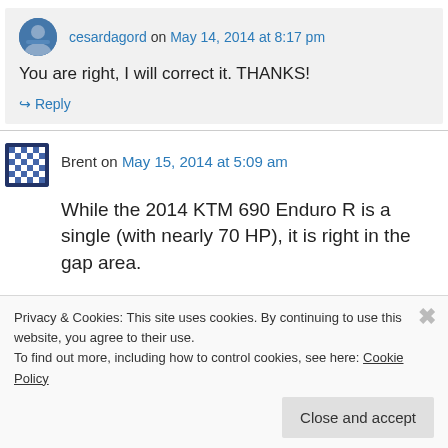cesardagord on May 14, 2014 at 8:17 pm
You are right, I will correct it. THANKS!
↳ Reply
Brent on May 15, 2014 at 5:09 am
While the 2014 KTM 690 Enduro R is a single (with nearly 70 HP), it is right in the gap area.
Privacy & Cookies: This site uses cookies. By continuing to use this website, you agree to their use.
To find out more, including how to control cookies, see here: Cookie Policy
Close and accept